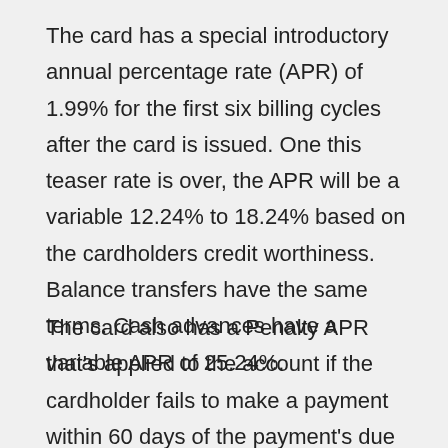The card has a special introductory annual percentage rate (APR) of 1.99% for the first six billing cycles after the card is issued. One this teaser rate is over, the APR will be a variable 12.24% to 18.24% based on the cardholders credit worthiness. Balance transfers have the same terms. Cash advances have a variable APR of 25.24%.
The card also has a Penalty APR that's applied to the account if the cardholder fails to make a payment within 60 days of the payment's due date. This Penalty rate stays in effect until you